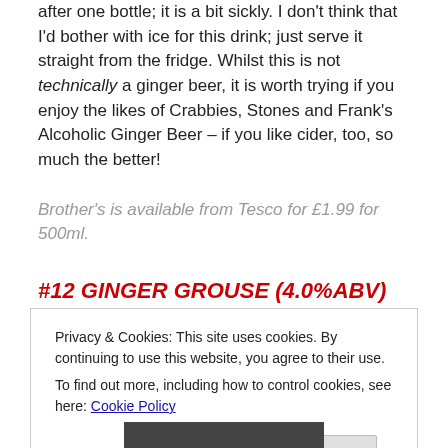after one bottle; it is a bit sickly. I don't think that I'd bother with ice for this drink; just serve it straight from the fridge. Whilst this is not technically a ginger beer, it is worth trying if you enjoy the likes of Crabbies, Stones and Frank's Alcoholic Ginger Beer – if you like cider, too, so much the better!
Brother's is available from Tesco for £1.99 for 500ml.
#12 GINGER GROUSE (4.0%ABV)
Privacy & Cookies: This site uses cookies. By continuing to use this website, you agree to their use.
To find out more, including how to control cookies, see here: Cookie Policy
Close and accept